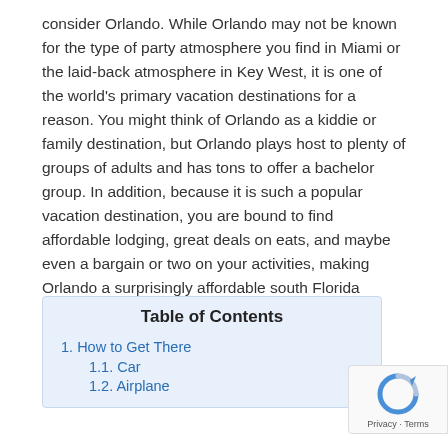consider Orlando. While Orlando may not be known for the type of party atmosphere you find in Miami or the laid-back atmosphere in Key West, it is one of the world's primary vacation destinations for a reason. You might think of Orlando as a kiddie or family destination, but Orlando plays host to plenty of groups of adults and has tons to offer a bachelor group. In addition, because it is such a popular vacation destination, you are bound to find affordable lodging, great deals on eats, and maybe even a bargain or two on your activities, making Orlando a surprisingly affordable south Florida bachelor party destination!
| Table of Contents |
| --- |
| 1. How to Get There |
| 1.1. Car |
| 1.2. Airplane |